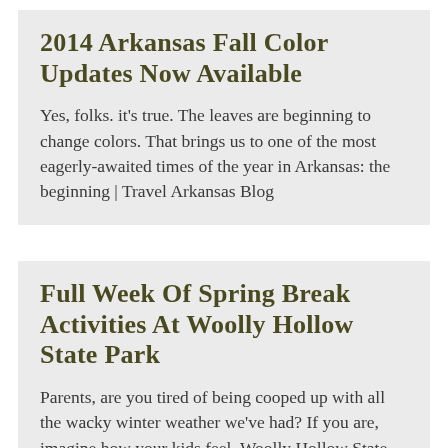2014 Arkansas Fall Color Updates Now Available
Yes, folks. it's true. The leaves are beginning to change colors. That brings us to one of the most eagerly-awaited times of the year in Arkansas: the beginning | Travel Arkansas Blog
Full Week of Spring Break Activities at Woolly Hollow State Park
Parents, are you tired of being cooped up with all the wacky winter weather we've had? If you are, imagine how your kids feel. Woolly Hollow State Park near